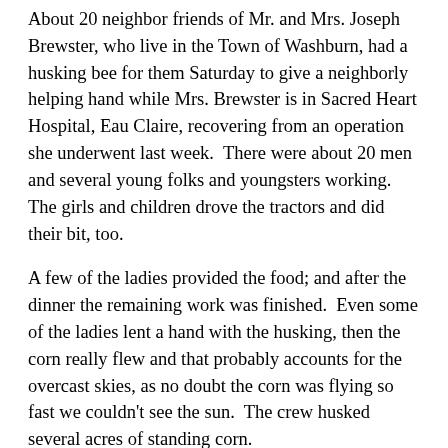About 20 neighbor friends of Mr. and Mrs. Joseph Brewster, who live in the Town of Washburn, had a husking bee for them Saturday to give a neighborly helping hand while Mrs. Brewster is in Sacred Heart Hospital, Eau Claire, recovering from an operation she underwent last week.  There were about 20 men and several young folks and youngsters working.  The girls and children drove the tractors and did their bit, too.
A few of the ladies provided the food; and after the dinner the remaining work was finished.  Even some of the ladies lent a hand with the husking, then the corn really flew and that probably accounts for the overcast skies, as no doubt the corn was flying so fast we couldn't see the sun.  The crew husked several acres of standing corn.
••••••••
John Samuel Wuethrich has died.  The end came early Tuesday afternoon, after a gallant fight lasting two years.